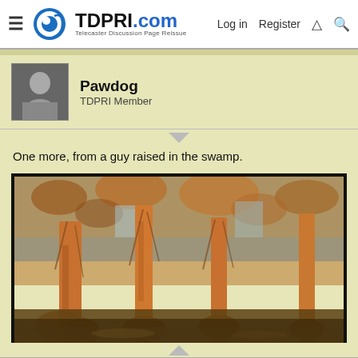TDPRI.com — Telecaster Discussion Page Reissue | Log in | Register
Pawdog
TDPRI Member
One more, from a guy raised in the swamp.
[Figure (photo): A swamp scene with large bald cypress trees draped in Spanish moss, with orange/brown autumn foliage, standing in dark water under a blue sky.]
Jan 17, 2022  #45